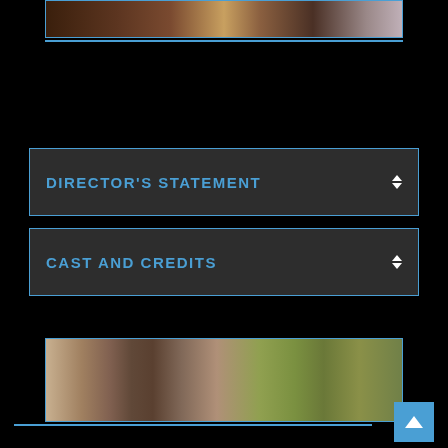[Figure (photo): Partial movie scene photo cropped at top, showing figures on a patterned rug with warm earthy tones]
DIRECTOR'S STATEMENT
CAST AND CREDITS
[Figure (photo): Close-up photo of a young boy with dark hair in foreground, a girl with dark hair blurred in background, outdoor greenish setting]